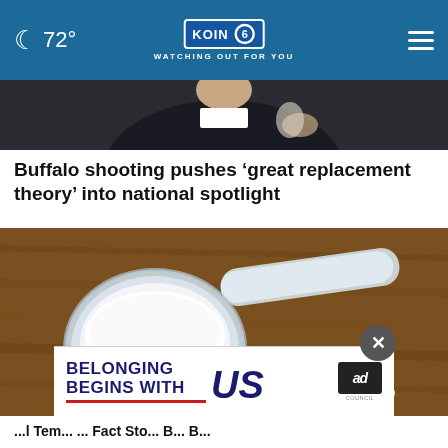KOIN 6 CBS — WATCHING OUT FOR YOU — 72°
[Figure (photo): Partial view of person in dark suit, top portion of news article image]
Buffalo shooting pushes 'great replacement theory' into national spotlight
[Figure (photo): Close-up photo of a plastic measuring scoop filled with white powder on a wooden surface, with some powder spilled nearby]
BELONGING BEGINS WITH US — ad council advertisement overlay